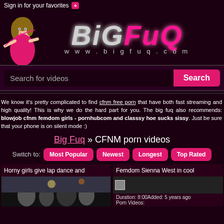Sign in for your favorites +
[Figure (logo): BigFuq website logo with mascot illustration and URL www.bigfuq.com]
Search for videos
We know it's pretty complicated to find cfnm free porn that have both fast streaming and high quality! This is why we do the hard part for you. The big fuq also recommends: blowjob cfnm femdom girls - pornhubcom and classsy hoe sucks sissy. Just be sure that your phone is on silent mode :)
Big Fuq » CFNM porn videos
Switch to: Most Popular  Newest  Longest  Top Rated
Horny girls give lap dance and
[Figure (photo): Video thumbnail showing crowd at a party/club]
Femdom Sienna West in cool
Duration: 8:00Added: 5 years ago
Porn Videos: